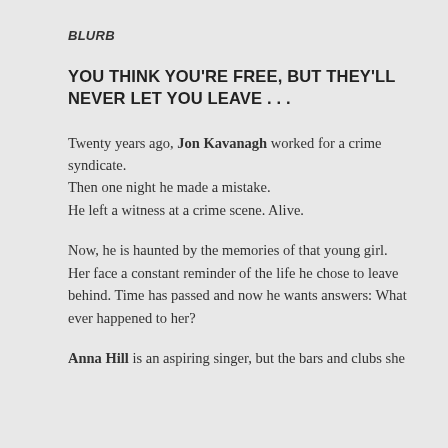BLURB
YOU THINK YOU'RE FREE, BUT THEY'LL NEVER LET YOU LEAVE . . .
Twenty years ago, Jon Kavanagh worked for a crime syndicate.
Then one night he made a mistake.
He left a witness at a crime scene. Alive.
Now, he is haunted by the memories of that young girl. Her face a constant reminder of the life he chose to leave behind. Time has passed and now he wants answers: What ever happened to her?
Anna Hill is an aspiring singer, but the bars and clubs she